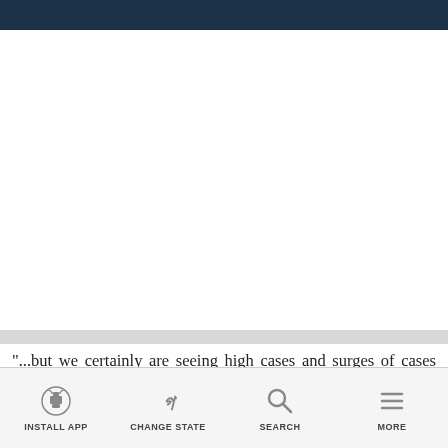"...but we certainly are seeing high cases and surges of cases around the world," she said. Dr Kerkhove reiterated the importance of vaccination in curbing the new variant however advised people to also
INSTALL APP | CHANGE STATE | SEARCH | MORE